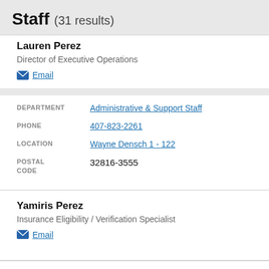Staff (31 results)
Lauren Perez
Director of Executive Operations
Email
| Field | Value |
| --- | --- |
| DEPARTMENT | Administrative & Support Staff |
| PHONE | 407-823-2261 |
| LOCATION | Wayne Densch 1 - 122 |
| POSTAL CODE | 32816-3555 |
Yamiris Perez
Insurance Eligibility / Verification Specialist
Email
DEPARTMENT